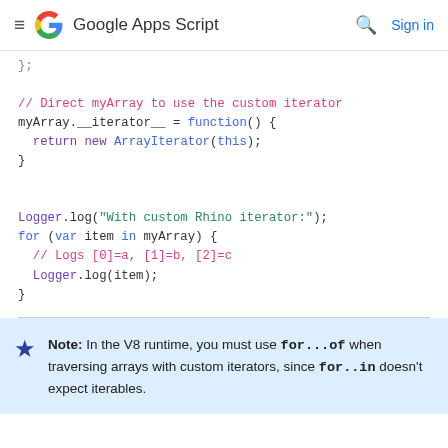Google Apps Script — Sign in
// Direct myArray to use the custom iterator
myArray.__iterator__ = function() {
  return new ArrayIterator(this);
}

Logger.log("With custom Rhino iterator:");
for (var item in myArray) {
  // Logs [0]=a, [1]=b, [2]=c
  Logger.log(item);
}
Note: In the V8 runtime, you must use for...of when traversing arrays with custom iterators, since for..in doesn't expect iterables.